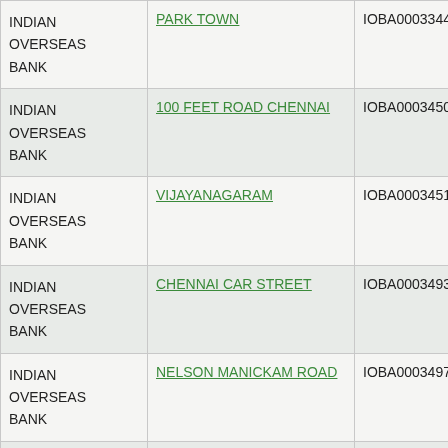| Bank | Branch | IFSC | ... |
| --- | --- | --- | --- |
| INDIAN OVERSEAS BANK | PARK TOWN | IOBA0003344 | 6000 |
| INDIAN OVERSEAS BANK | 100 FEET ROAD CHENNAI | IOBA0003450 | WAIT |
| INDIAN OVERSEAS BANK | VIJAYANAGARAM | IOBA0003451 | WAIT |
| INDIAN OVERSEAS BANK | CHENNAI CAR STREET | IOBA0003493 | NA |
| INDIAN OVERSEAS BANK | NELSON MANICKAM ROAD | IOBA0003497 | NA |
| INDIAN | MGR NAGAR | IOBA0003508 | NA |